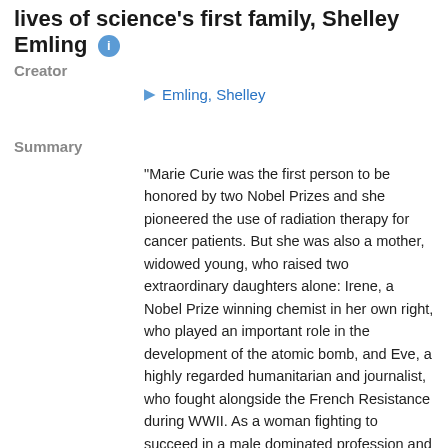lives of science's first family, Shelley Emling
Creator
Emling, Shelley
Summary
"Marie Curie was the first person to be honored by two Nobel Prizes and she pioneered the use of radiation therapy for cancer patients. But she was also a mother, widowed young, who raised two extraordinary daughters alone: Irene, a Nobel Prize winning chemist in her own right, who played an important role in the development of the atomic bomb, and Eve, a highly regarded humanitarian and journalist, who fought alongside the French Resistance during WWII. As a woman fighting to succeed in a male dominated profession and a Polish immigrant caught in a xenophobic society, she had to find ways to support her